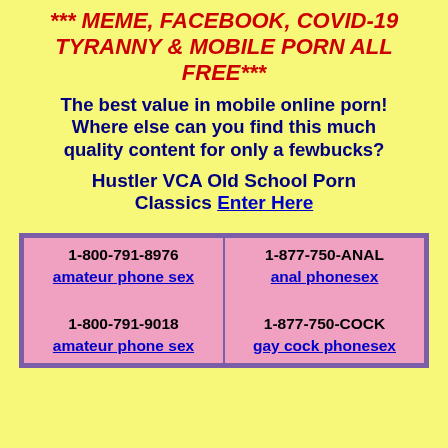*** MEME, FACEBOOK, COVID-19 TYRANNY & MOBILE PORN ALL FREE***
The best value in mobile online porn! Where else can you find this much quality content for only a fewbucks?
Hustler VCA Old School Porn Classics Enter Here
| 1-800-791-8976
amateur phone sex
1-800-791-9018
amateur phone sex | 1-877-750-ANAL
anal phonesex
1-877-750-COCK
gay cock phonesex |